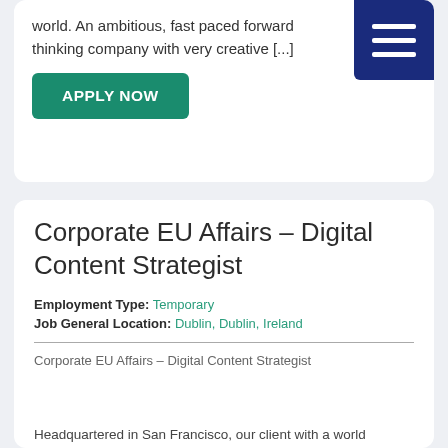world. An ambitious, fast paced forward thinking company with very creative [...]
[Figure (other): Hamburger menu icon (three white horizontal lines on dark blue square background)]
APPLY NOW
Corporate EU Affairs – Digital Content Strategist
Employment Type: Temporary
Job General Location: Dublin, Dublin, Ireland
Corporate EU Affairs – Digital Content Strategist
Headquartered in San Francisco, our client with a world